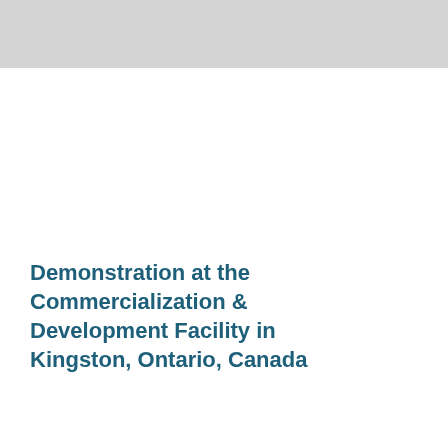Demonstration at the Commercialization & Development Facility in Kingston, Ontario, Canada